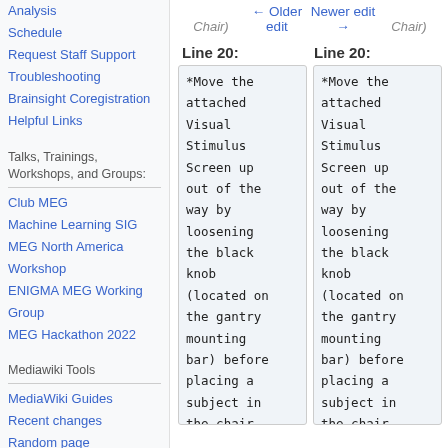Analysis
Schedule
Request Staff Support
Troubleshooting
Brainsight Coregistration
Helpful Links
Talks, Trainings, Workshops, and Groups:
Club MEG
Machine Learning SIG
MEG North America Workshop
ENIGMA MEG Working Group
MEG Hackathon 2022
Mediawiki Tools
MediaWiki Guides
Recent changes
Random page
Help
Wiki Sidebar
Chair) ← Older edit    Newer edit → Chair)
Line 20:
*Move the attached Visual Stimulus Screen up out of the way by loosening the black knob (located on the gantry mounting bar) before placing a subject in the chair.
*Move the attached Visual Stimulus Screen up out of the way by loosening the black knob (located on the gantry mounting bar) before placing a subject in the chair.